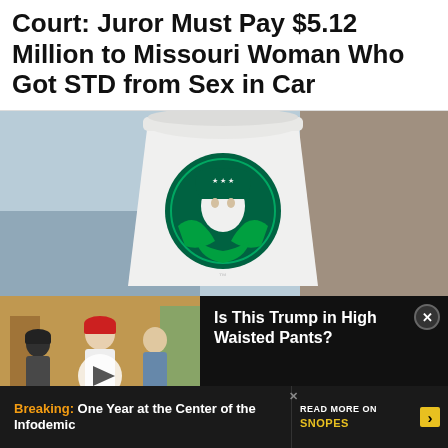Court: Juror Must Pay $5.12 Million to Missouri Woman Who Got STD from Sex in Car
[Figure (photo): Photo of a Starbucks white cup with green Starbucks logo/siren against a blurred outdoor background]
[Figure (photo): Video thumbnail showing people including someone in a red cap in a lobby/hallway, with play button overlay and 'Is This Trump in High Waisted Pants?' headline on black panel]
Is This Trump in High Waisted Pants?
Breaking: One Year at the Center of the Infodemic
READ MORE ON SNOPES